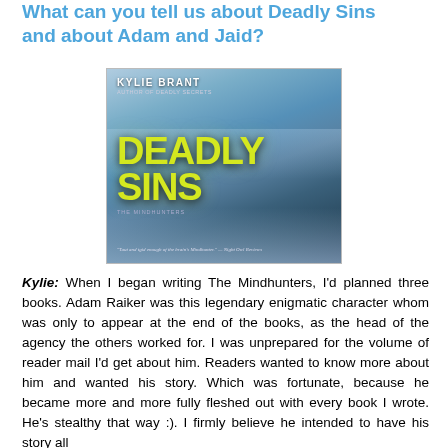What can you tell us about Deadly Sins and about Adam and Jaid?
[Figure (photo): Book cover of 'Deadly Sins' by Kylie Brant, part of The Mindhunters series. Dark blue atmospheric cover with yellow-green title text and a woman's face partially visible. Tagline at bottom.]
Kylie: When I began writing The Mindhunters, I'd planned three books. Adam Raiker was this legendary enigmatic character whom was only to appear at the end of the books, as the head of the agency the others worked for. I was unprepared for the volume of reader mail I'd get about him. Readers wanted to know more about him and wanted his story. Which was fortunate, because he became more and more fully fleshed out with every book I wrote. He's stealthy that way :). I firmly believe he intended to have his story all